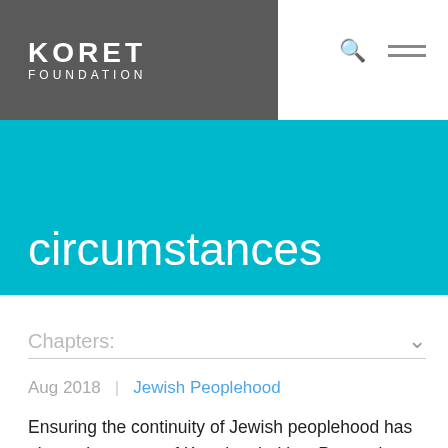KORET FOUNDATION
circumstances
Chapters:
Aug 2018  |  Jewish Peoplehood
Ensuring the continuity of Jewish peoplehood has always been one of Koret's priorities. Preserving and honoring the history of Jewish communities is central to this commitment. Holocaust remembrance advocates and educators agree that first-hand accounts from survivors are